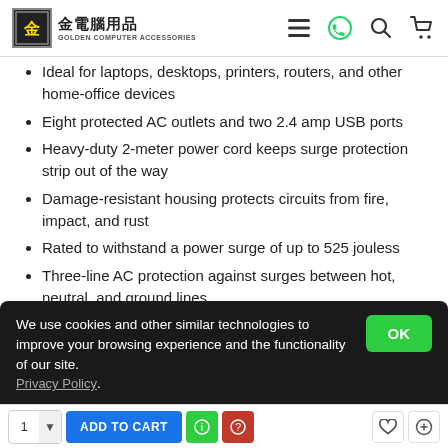金電腦用品 Golden Computer Accessories
Ideal for laptops, desktops, printers, routers, and other home-office devices
Eight protected AC outlets and two 2.4 amp USB ports
Heavy-duty 2-meter power cord keeps surge protection strip out of the way
Damage-resistant housing protects circuits from fire, impact, and rust
Rated to withstand a power surge of up to 525 jouless
Three-line AC protection against surges between hot, neutral, and ground lines
Warranty repairs or replaces damaged connected equipment up to HK$20,000
2 year warranty
We use cookies and other similar technologies to improve your browsing experience and the functionality of our site. Privacy Policy.